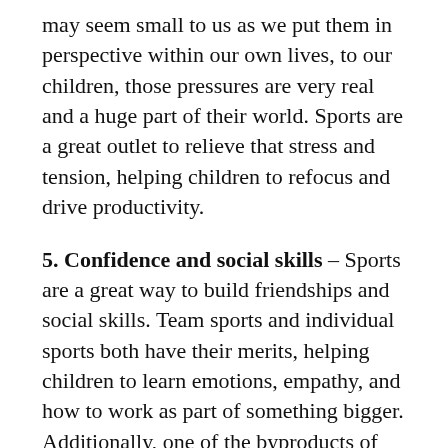may seem small to us as we put them in perspective within our own lives, to our children, those pressures are very real and a huge part of their world. Sports are a great outlet to relieve that stress and tension, helping children to refocus and drive productivity.
5. Confidence and social skills – Sports are a great way to build friendships and social skills. Team sports and individual sports both have their merits, helping children to learn emotions, empathy, and how to work as part of something bigger. Additionally, one of the byproducts of staying active is building a healthy physique which can lead to self-